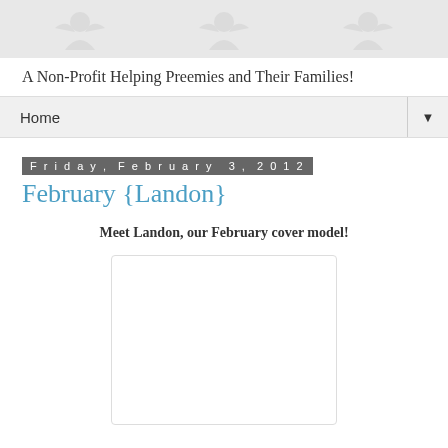[Figure (illustration): Light gray banner with decorative baby/children silhouette motifs repeated across the top]
A Non-Profit Helping Preemies and Their Families!
Home
Friday, February 3, 2012
February {Landon}
Meet Landon, our February cover model!
[Figure (photo): White rectangular image placeholder with rounded border]